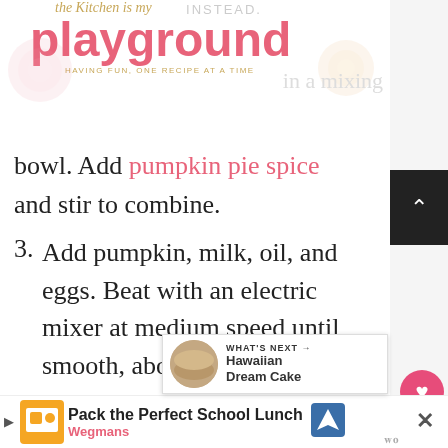INSTEAD. the kitchen is my playground HAVING FUN, ONE RECIPE AT A TIME
bowl. Add pumpkin pie spice and stir to combine.
3. Add pumpkin, milk, oil, and eggs. Beat with an electric mixer at medium speed until smooth, about 2 minutes, scraping down sides at least once.
4. Pour batter into a greased [9x13] inch baking pan.
[Figure (other): What's Next promotional thumbnail for Hawaiian Dream Cake]
Pack the Perfect School Lunch Wegmans [advertisement]